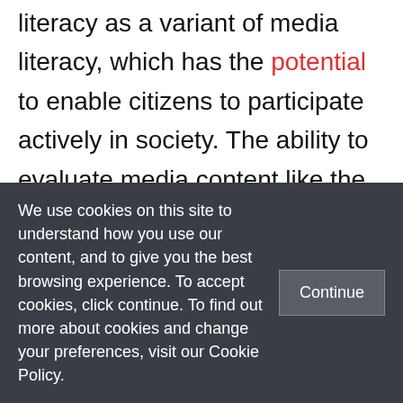literacy as a variant of media literacy, which has the potential to enable citizens to participate actively in society. The ability to evaluate media content like the news is central to notions of media literacy. Such an ability is sine qua non for a well-informed citizenry. But as we think about the importance of promoting media literacy among children and adults, different challenges arise, which require different
We use cookies on this site to understand how you use our content, and to give you the best browsing experience. To accept cookies, click continue. To find out more about cookies and change your preferences, visit our Cookie Policy.